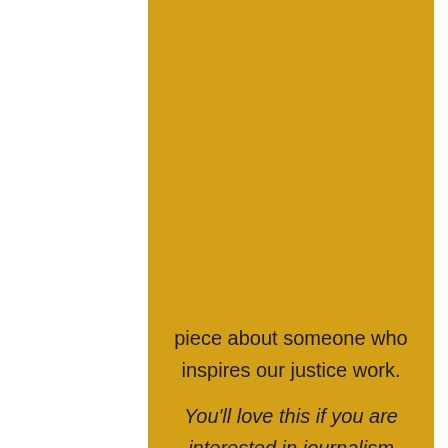piece about someone who inspires our justice work.
You'll love this if you are interested in journalism and writing opinion pieces (or have a blog!).
Weekend Three: Persuasive Writing
Taking everything we've learned about engaging the right reader in our writing, we each choose a